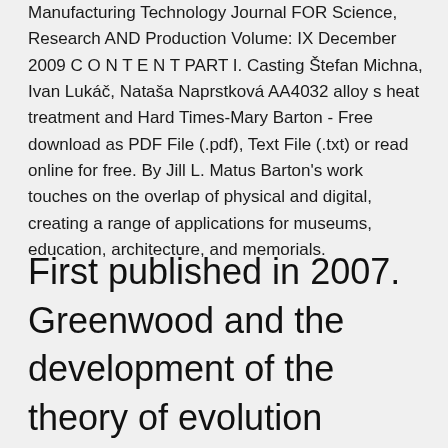Manufacturing Technology Journal FOR Science, Research AND Production Volume: IX December 2009 C O N T E N T PART I. Casting Štefan Michna, Ivan Lukáč, Nataša Naprstková AA4032 alloy s heat treatment and Hard Times-Mary Barton - Free download as PDF File (.pdf), Text File (.txt) or read online for free. By Jill L. Matus Barton's work touches on the overlap of physical and digital, creating a range of applications for museums, education, architecture, and memorials.
First published in 2007. Greenwood and the development of the theory of evolution before 1960. Darwin rock strata and had free access to the fourth largest natural history the